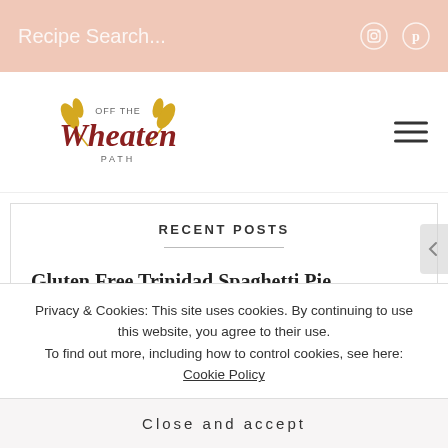Recipe Search...
[Figure (logo): Off the Wheaten Path logo with wheat graphic and stylized text]
RECENT POSTS
Gluten Free Trinidad Spaghetti Pie
Gluten Free Oreo Ice Cream Cupcakes
Privacy & Cookies: This site uses cookies. By continuing to use this website, you agree to their use. To find out more, including how to control cookies, see here: Cookie Policy
Close and accept